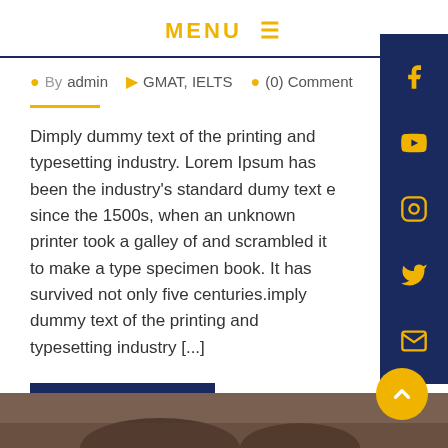MENU ≡
By admin   GMAT, IELTS   (0) Comment
Dimply dummy text of the printing and typesetting industry. Lorem Ipsum has been the industry's standard dumy text e since the 1500s, when an unknown printer took a galley of and scrambled it to make a type specimen book. It has survived not only five centuries.imply dummy text of the printing and typesetting industry [...]
READ MORE
[Figure (photo): Bottom image showing people, partially visible]